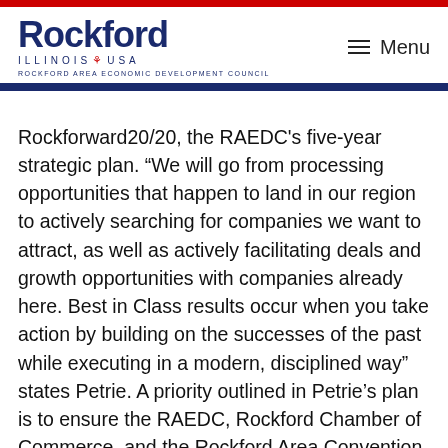[Figure (logo): Rockford Illinois USA logo with Rockford Area Economic Development Council text]
Rockforward20/20, the RAEDC’s five-year strategic plan. “We will go from processing opportunities that happen to land in our region to actively searching for companies we want to attract, as well as actively facilitating deals and growth opportunities with companies already here. Best in Class results occur when you take action by building on the successes of the past while executing in a modern, disciplined way” states Petrie. A priority outlined in Petrie’s plan is to ensure the RAEDC, Rockford Chamber of Commerce, and the Rockford Area Convention and Visitors Bureau (RACVB), in addition to many other